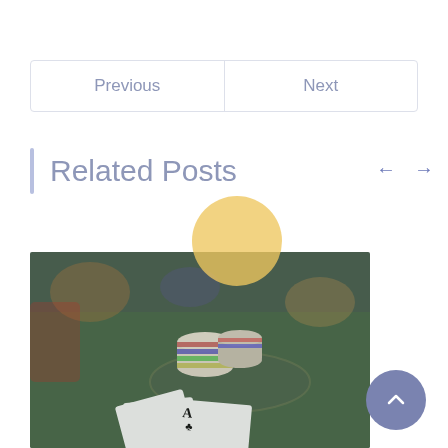Previous | Next
Related Posts
[Figure (photo): Casino table with poker chips and playing cards including an Ace on a green felt surface, taken in a dimly lit casino environment.]